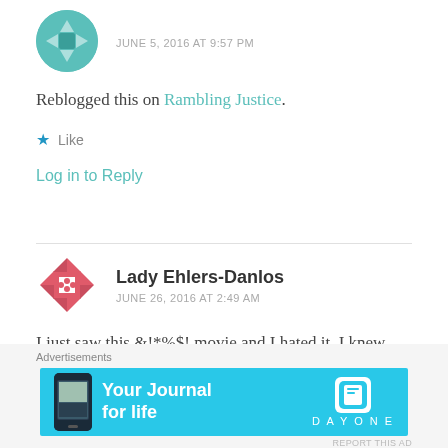JUNE 5, 2016 AT 9:57 PM
Reblogged this on Rambling Justice.
Like
Log in to Reply
Lady Ehlers-Danlos
JUNE 26, 2016 AT 2:49 AM
I just saw this &!*%$! movie and I hated it. I knew absolutely nothing about it except for the one-
Advertisements
[Figure (screenshot): Advertisement banner for Day One app: 'Your Journal for life' on cyan background with phone image and Day One logo]